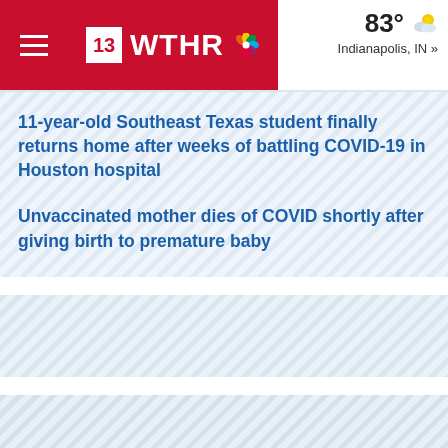13 WTHR — 83° Indianapolis, IN »
11-year-old Southeast Texas student finally returns home after weeks of battling COVID-19 in Houston hospital
Unvaccinated mother dies of COVID shortly after giving birth to premature baby